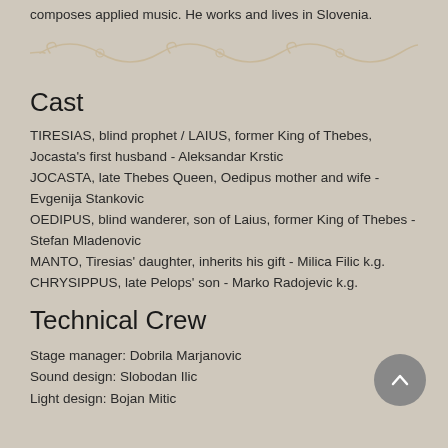composes applied music. He works and lives in Slovenia.
[Figure (illustration): Decorative ornamental divider line with scrollwork and flourishes in a beige/tan color]
Cast
TIRESIAS, blind prophet / LAIUS, former King of Thebes, Jocasta's first husband - Aleksandar Krstic
JOCASTA, late Thebes Queen, Oedipus mother and wife - Evgenija Stankovic
OEDIPUS, blind wanderer, son of Laius, former King of Thebes - Stefan Mladenovic
MANTO, Tiresias' daughter, inherits his gift - Milica Filic k.g.
CHRYSIPPUS, late Pelops' son - Marko Radojevic k.g.
Technical Crew
Stage manager: Dobrila Marjanovic
Sound design: Slobodan Ilic
Light design: Bojan Mitic